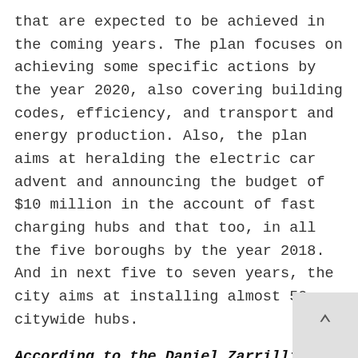that are expected to be achieved in the coming years. The plan focuses on achieving some specific actions by the year 2020, also covering building codes, efficiency, and transport and energy production. Also, the plan aims at heralding the electric car advent and announcing the budget of $10 million in the account of fast charging hubs and that too, in all the five boroughs by the year 2018. And in next five to seven years, the city aims at installing almost 50 citywide hubs.
According to the Daniel Zarrilli, Climate Policy Senior Director;
"In the face of federal inaction on climate change, it is now more important than ever for cities like New York to step up to fulfill the Paris Agreement."
Ever since Trump has taken the presidency of the US,